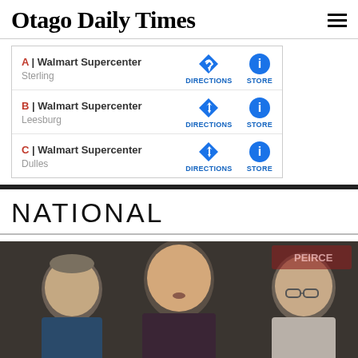Otago Daily Times
[Figure (screenshot): Walmart Supercenter store locator dropdown showing three locations: A - Sterling, B - Leesburg, C - Dulles, each with Directions and Store icons]
NATIONAL
[Figure (photo): Three men standing together outdoors, center man is bald and speaking, flanked by two older men]